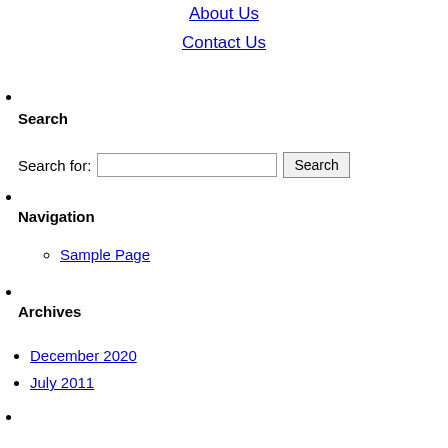About Us
Contact Us
Search
Search for:
Navigation
Sample Page
Archives
December 2020
July 2011